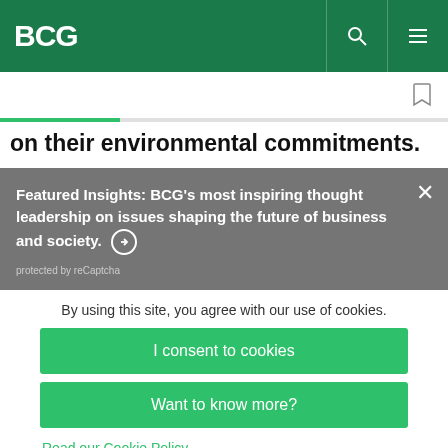BCG
on their environmental commitments.
Featured Insights: BCG's most inspiring thought leadership on issues shaping the future of business and society. →
protected by reCaptcha
By using this site, you agree with our use of cookies.
I consent to cookies
Want to know more?
Read our Cookie Policy